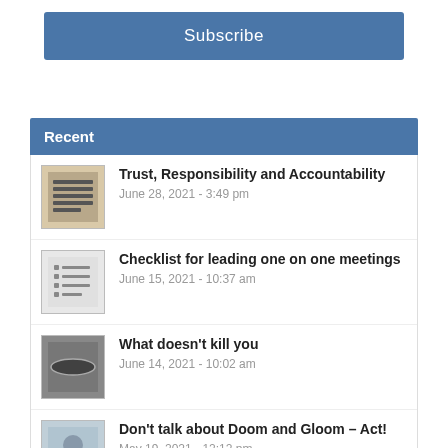Subscribe
Recent
Trust, Responsibility and Accountability
June 28, 2021 - 3:49 pm
Checklist for leading one on one meetings
June 15, 2021 - 10:37 am
What doesn't kill you
June 14, 2021 - 10:02 am
Don't talk about Doom and Gloom – Act!
May 19, 2021 - 12:12 pm
The Antidote for too much Snippiness at Work is more Se...
May 10, 2021 - 1:34 pm